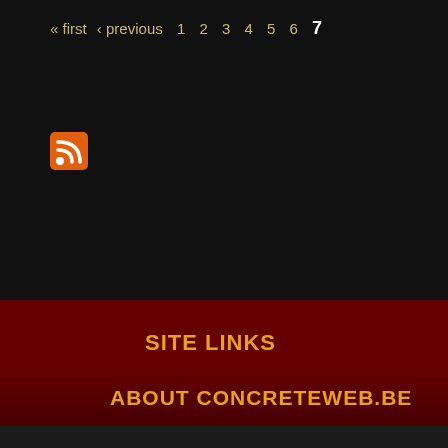« first  ‹ previous  1  2  3  4  5  6  7
[Figure (other): RSS feed icon - orange square with white RSS symbol]
SITE LINKS
Reviews
Tourdates
ABOUT CONCRETEWEB.BE
Editorial